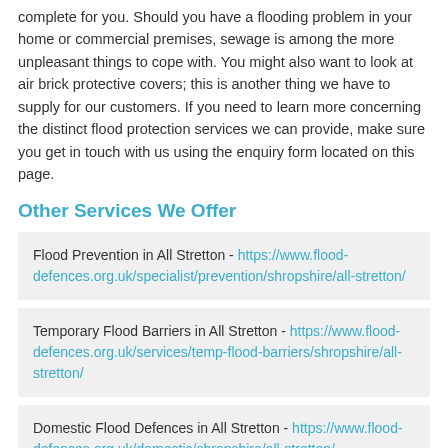complete for you. Should you have a flooding problem in your home or commercial premises, sewage is among the more unpleasant things to cope with. You might also want to look at air brick protective covers; this is another thing we have to supply for our customers. If you need to learn more concerning the distinct flood protection services we can provide, make sure you get in touch with us using the enquiry form located on this page.
Other Services We Offer
Flood Prevention in All Stretton - https://www.flood-defences.org.uk/specialist/prevention/shropshire/all-stretton/
Temporary Flood Barriers in All Stretton - https://www.flood-defences.org.uk/services/temp-flood-barriers/shropshire/all-stretton/
Domestic Flood Defences in All Stretton - https://www.flood-defences.org.uk/domestic/shropshire/all-stretton/